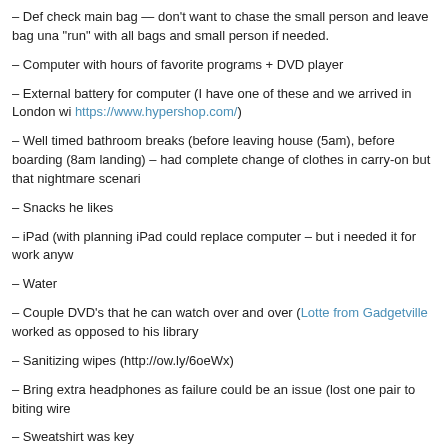– Def check main bag — don't want to chase the small person and leave bag una "run" with all bags and small person if needed.
– Computer with hours of favorite programs + DVD player
– External battery for computer (I have one of these and we arrived in London wi https://www.hypershop.com/)
– Well timed bathroom breaks (before leaving house (5am), before boarding (8am landing) – had complete change of clothes in carry-on but that nightmare scenari
– Snacks he likes
– iPad (with planning iPad could replace computer – but i needed it for work anyw
– Water
– Couple DVD's that he can watch over and over (Lotte from Gadgetville worked as opposed to his library
– Sanitizing wipes (http://ow.ly/6oeWx)
– Bring extra headphones as failure could be an issue (lost one pair to biting wire
– Sweatshirt was key